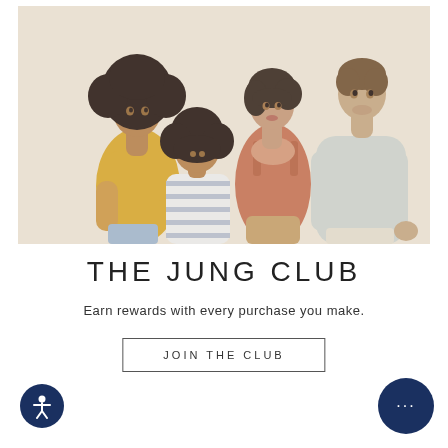[Figure (photo): Four young people standing together against a light beige background. From left: a young man with a large afro wearing a yellow t-shirt; a young woman with curly hair wearing a white striped top, looking down; a woman in a terracotta/rust spaghetti-strap top; and a tall man in a light grey t-shirt.]
THE JUNG CLUB
Earn rewards with every purchase you make.
JOIN THE CLUB